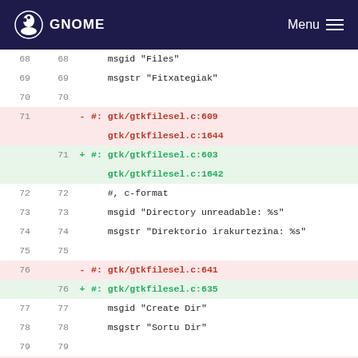GNOME Menu
68  68   msgid "Files"
69  69   msgstr "Fitxategiak"
70  70
71       - #: gtk/gtkfilesel.c:609 gtk/gtkfilesel.c:1644
    71   + #: gtk/gtkfilesel.c:603 gtk/gtkfilesel.c:1642
72  72   #, c-format
73  73   msgid "Directory unreadable: %s"
74  74   msgstr "Direktorio irakurtezina: %s"
75  75
76       - #: gtk/gtkfilesel.c:641
    76   + #: gtk/gtkfilesel.c:635
77  77   msgid "Create Dir"
78  78   msgstr "Sortu Dir"
79  79
80       - #: gtk/gtkfilesel.c:652 gtk/gtkfilesel.c:1034
    80   + #: gtk/gtkfilesel.c:646 gtk/gtkfilesel.c:1029